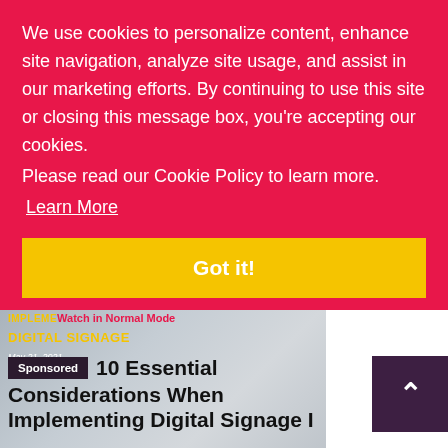We use cookies to personalize content, enhance site navigation, analyze site usage, and assist in our marketing efforts. By continuing to use this site or closing this message box, you're accepting our cookies.
Please read our Cookie Policy to learn more.
Learn More
Got it!
[Figure (screenshot): Thumbnail image showing text overlay: IMPLEMENTING DIGITAL SIGNAGE, May 21, 2021, with red text 'Watch in Normal Mode' overlaid]
Sponsored  10 Essential Considerations When Implementing Digital Signage I